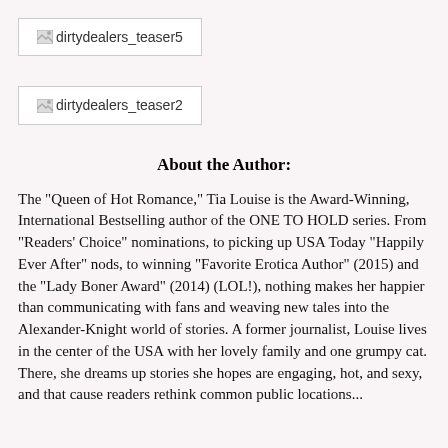[Figure (other): Broken image placeholder labeled dirtydealers_teaser5]
[Figure (other): Broken image placeholder labeled dirtydealers_teaser2]
About the Author:
The "Queen of Hot Romance," Tia Louise is the Award-Winning, International Bestselling author of the ONE TO HOLD series. From "Readers' Choice" nominations, to picking up USA Today "Happily Ever After" nods, to winning "Favorite Erotica Author" (2015) and the "Lady Boner Award" (2014) (LOL!), nothing makes her happier than communicating with fans and weaving new tales into the Alexander-Knight world of stories. A former journalist, Louise lives in the center of the USA with her lovely family and one grumpy cat. There, she dreams up stories she hopes are engaging, hot, and sexy, and that cause readers rethink common public locations...